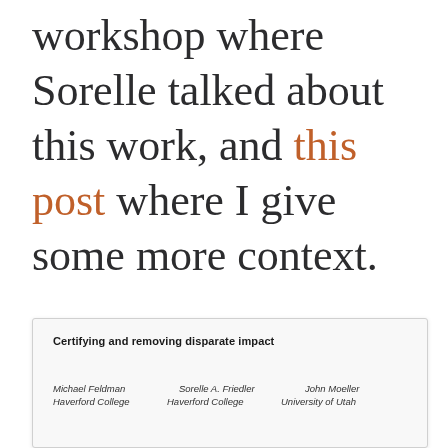workshop where Sorelle talked about this work, and this post where I give some more context.
[Figure (screenshot): A paper card/preview showing the title 'Certifying and removing disparate impact' with authors Michael Feldman (Haverford College), Sorelle A. Friedler (Haverford College), John Moeller (University of Utah)]